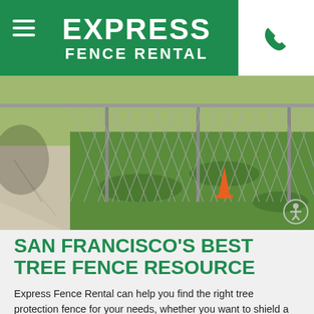EXPRESS FENCE RENTAL
[Figure (photo): Outdoor photo showing a chain-link fence installed along a grassy area with concrete pavement visible on the left side. An orange safety cone is visible in the background on the right.]
SAN FRANCISCO'S BEST TREE FENCE RESOURCE
Express Fence Rental can help you find the right tree protection fence for your needs, whether you want to shield a new young tree at your San Francisco home, or you need to comply with local regulations on your build site. Our team has been supplying tree protection fences for many years, and we know how to size them.